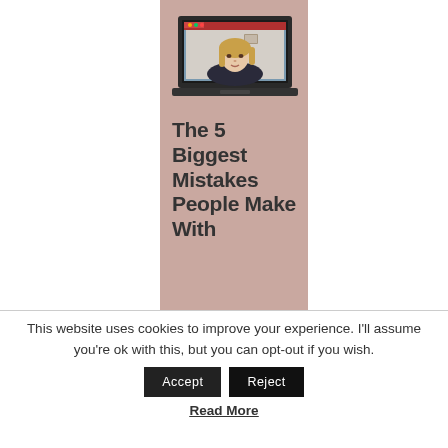[Figure (photo): A laptop displaying a video call with a woman with blonde hair, sitting in front of a home office background. The laptop is shown on a mauve/dusty pink background.]
The 5 Biggest Mistakes People Make With
This website uses cookies to improve your experience. I'll assume you're ok with this, but you can opt-out if you wish.
Read More